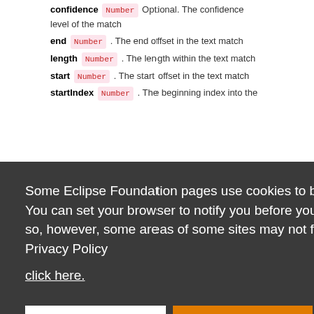confidence Number . Optional. The confidence level of the match
end Number . The end offset in the text match
length Number . The length within the text match
start Number . The start offset in the text match
startIndex Number . The beginning index into the
Some Eclipse Foundation pages use cookies to better serve you when you return to the site. You can set your browser to notify you before you receive a cookie or turn off cookies. If you do so, however, some areas of some sites may not function properly. To read Eclipse Foundation Privacy Policy
click here.
Decline | Allow cookies
orion.PluginProvider();